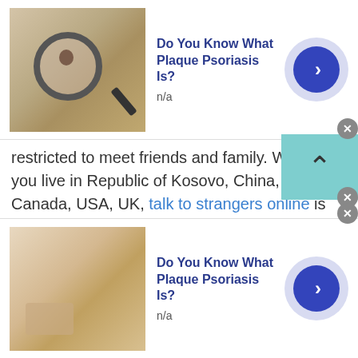[Figure (screenshot): Top advertisement banner: thumbnail image of skin with magnifying glass, headline 'Do You Know What Plaque Psoriasis Is?', subtext 'n/a', blue circular arrow button, close X button]
restricted to meet friends and family. Whether you live in Republic of Kosovo, China, India, Canada, USA, UK, talk to strangers online is no more difficult. Talk to strangers in Republic of Kosovo, Canada, America, UK and other countries is now easy with the Talkwithstranger app. Yes, Talkwithstranger is the most reliable, authentic and completely free online chatting app where you have millions of people to chat online.

Talk to strangers in Republic of Kosovo via
[Figure (screenshot): Bottom advertisement banner: thumbnail image of skin/hands, headline 'Do You Know What Plaque Psoriasis Is?', subtext 'n/a', blue circular arrow button, close X button]